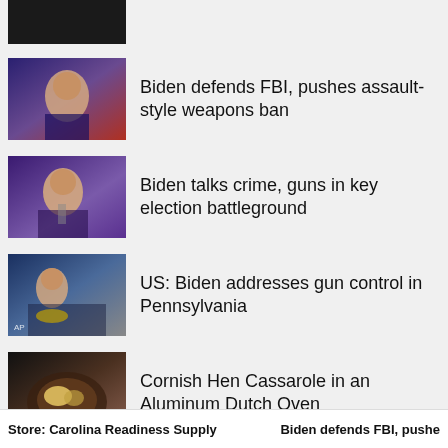[Figure (photo): Partial thumbnail of a dark image (top of page, partially visible)]
[Figure (photo): Biden at rally/event with red and blue lighting]
Biden defends FBI, pushes assault-style weapons ban
[Figure (photo): Biden speaking at microphone on purple-lit stage]
Biden talks crime, guns in key election battleground
[Figure (photo): Biden addressing crowd at Pennsylvania event with presidential seal podium]
US: Biden addresses gun control in Pennsylvania
[Figure (photo): Food dish - Cornish Hen Cassarole in a dark pot]
Cornish Hen Cassarole in an Aluminum Dutch Oven
Store: Carolina Readiness Supply   Biden defends FBI, pushe